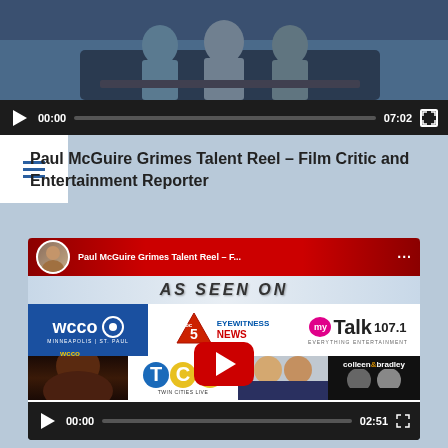[Figure (screenshot): Video player showing interview scene, with controls showing 00:00 / 07:02]
[Figure (screenshot): Hamburger navigation menu icon (three horizontal lines) on white background]
Paul McGuire Grimes Talent Reel – Film Critic and Entertainment Reporter
[Figure (screenshot): YouTube video player showing Paul McGuire Grimes Talent Reel thumbnail with WCCO, ABC 5 Eyewitness News, myTalk 107.1 logos and AS SEEN ON banner, with controls showing 00:00 / 02:51]